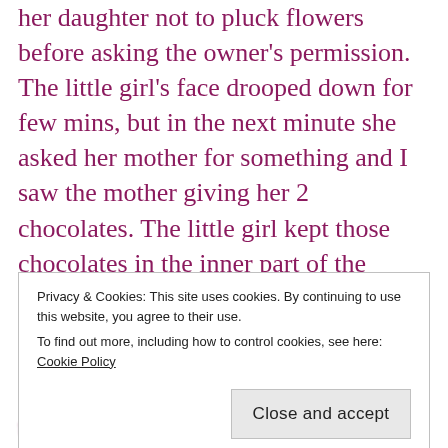her daughter not to pluck flowers before asking the owner's permission. The little girl's face drooped down for few mins, but in the next minute she asked her mother for something and I saw the mother giving her 2 chocolates. The little girl kept those chocolates in the inner part of the compound wall with a brilliant smile as if she had found a solution for a big problem. She then looked around probably waiting to spot someone in
Privacy & Cookies: This site uses cookies. By continuing to use this website, you agree to their use. To find out more, including how to control cookies, see here: Cookie Policy
Close and accept
the girl stood and she crossed the